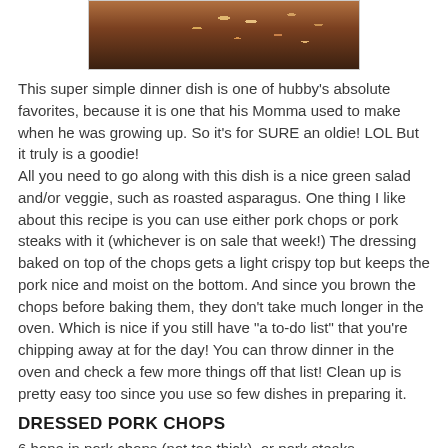[Figure (photo): Photo of a food dish in a dark wooden bowl, showing what appears to be pork chops with toppings, cropped at the top of the page]
This super simple dinner dish is one of hubby's absolute favorites, because it is one that his Momma used to make when he was growing up. So it's for SURE an oldie! LOL But it truly is a goodie!
All you need to go along with this dish is a nice green salad and/or veggie, such as roasted asparagus. One thing I like about this recipe is you can use either pork chops or pork steaks with it (whichever is on sale that week!) The dressing baked on top of the chops gets a light crispy top but keeps the pork nice and moist on the bottom. And since you brown the chops before baking them, they don't take much longer in the oven. Which is nice if you still have "a to-do list" that you're chipping away at for the day! You can throw dinner in the oven and check a few more things off that list! Clean up is pretty easy too since you use so few dishes in preparing it.
DRESSED PORK CHOPS
6 bone in pork chops (not too thick), or pork steaks